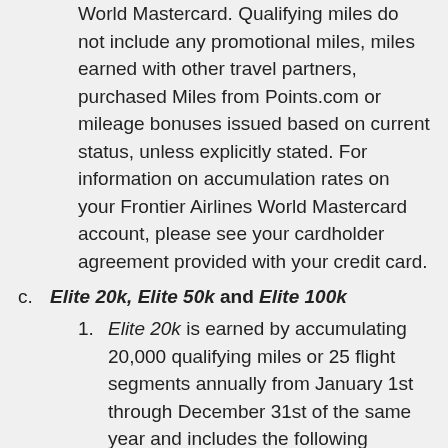World Mastercard. Qualifying miles do not include any promotional miles, miles earned with other travel partners, purchased Miles from Points.com or mileage bonuses issued based on current status, unless explicitly stated. For information on accumulation rates on your Frontier Airlines World Mastercard account, please see your cardholder agreement provided with your credit card.
c. Elite 20k, Elite 50k and Elite 100k
1. Elite 20k is earned by accumulating 20,000 qualifying miles or 25 flight segments annually from January 1st through December 31st of the same year and includes the following benefits: